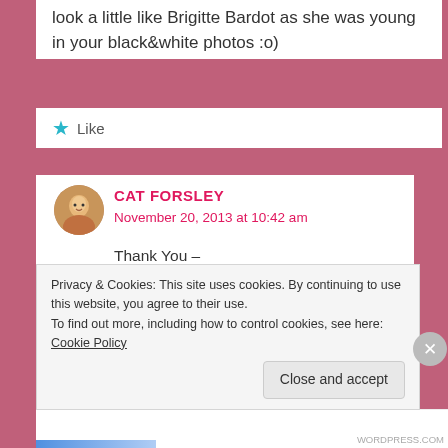look a little like Brigitte Bardot as she was young in your black&white photos :o)
★ Like
[Figure (photo): Small circular avatar photo of Cat Forsley]
CAT FORSLEY
November 20, 2013 at 10:42 am
Thank You –
❤
Walt was / is Genius xxx
and Brigitte .......
well i do love her too 😊
Privacy & Cookies: This site uses cookies. By continuing to use this website, you agree to their use.
To find out more, including how to control cookies, see here: Cookie Policy
Close and accept